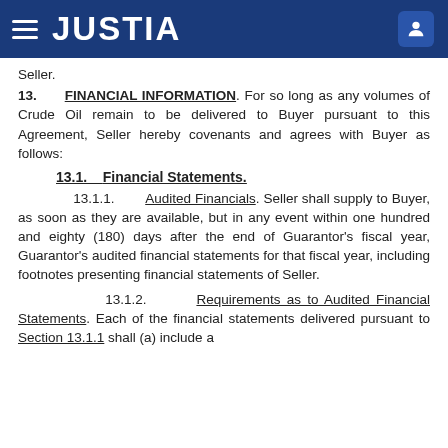JUSTIA
Seller.
13.    FINANCIAL INFORMATION. For so long as any volumes of Crude Oil remain to be delivered to Buyer pursuant to this Agreement, Seller hereby covenants and agrees with Buyer as follows:
13.1.    Financial Statements.
13.1.1.    Audited Financials. Seller shall supply to Buyer, as soon as they are available, but in any event within one hundred and eighty (180) days after the end of Guarantor’s fiscal year, Guarantor’s audited financial statements for that fiscal year, including footnotes presenting financial statements of Seller.
13.1.2.    Requirements as to Audited Financial Statements. Each of the financial statements delivered pursuant to Section 13.1.1 shall (a) include a balance sheet, profit and loss statement, and cash flow